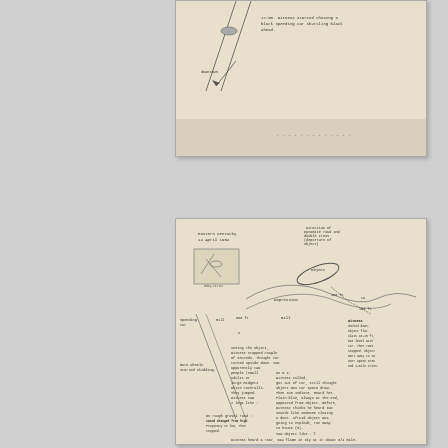[Figure (illustration): Top portion of a hand-drawn UFO sighting report sketch showing a road, a vehicle, and handwritten notes about a black object/Chevrolet. Partial view of document.]
[Figure (illustration): Hand-drawn UFO sighting diagram dated 'Eastern Kentucky, 14 April 1964' with sketch of landscape, road, hills, object path (100 ft, 200 ft distances marked), witness location, and extensive handwritten notes describing the encounter. Notes mention: witness ducked down, object flat, class 10-15 ft, was level with car, then rose, stopped, went away 20 degrees, over Apsen area and 4-mile cross. On R1: witness called, got out of car, still thought object was car space draw, two Indians heard her, Plain blue, always at the end, appeared from object. Before witness thinks he heard two sounds like someone closing a door. Afraid object was going to explode, ran away to house (R). Saw object like a drawing. With Indians, 2 ft large, 29 high - total object could be about 10-15 feet long. On rough gravel road sound changed from high frequency to low, then stopped. Witness heard a roar, saw flame in sky at it about 3/4 mile. Thought of dynamite shock, decided to give up chase. Narrow flame was bluish and more of Always her. Funnel type, narrower at top. 17:45 witness started chasing black Chevrolet speeding 3 blocks ahead.]